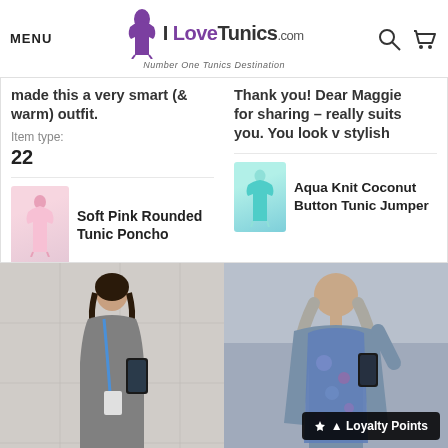MENU | I LoveTunics.com — Number One Tunics Destination
made this a very smart (& warm) outfit.
Item type:
22
Soft Pink Rounded Tunic Poncho
Thank you! Dear Maggie for sharing - really suits you. You look v stylish
Aqua Knit Coconut Button Tunic Jumper
[Figure (photo): Woman in grey knit tunic taking mirror selfie in bathroom]
[Figure (photo): Older woman taking selfie wearing blue floral tunic vest over grey long-sleeve top]
Loyalty Points